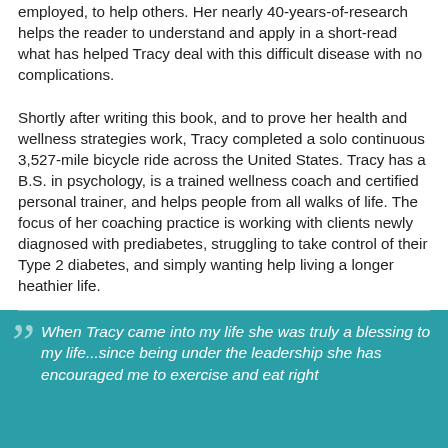employed, to help others. Her nearly 40-years-of-research helps the reader to understand and apply in a short-read what has helped Tracy deal with this difficult disease with no complications.
Shortly after writing this book, and to prove her health and wellness strategies work, Tracy completed a solo continuous 3,527-mile bicycle ride across the United States. Tracy has a B.S. in psychology, is a trained wellness coach and certified personal trainer, and helps people from all walks of life. The focus of her coaching practice is working with clients newly diagnosed with prediabetes, struggling to take control of their Type 2 diabetes, and simply wanting help living a longer heathier life.
When Tracy came into my life she was truly a blessing to my life...since being under the leadership she has encouraged me to exercise and eat right